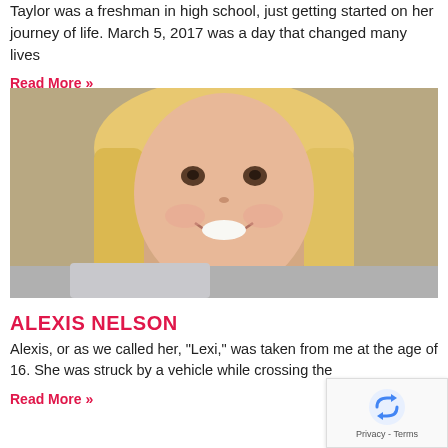Taylor was a freshman in high school, just getting started on her journey of life. March 5, 2017 was a day that changed many lives
Read More »
[Figure (photo): Portrait photo of a smiling young blonde-haired girl]
ALEXIS NELSON
Alexis, or as we called her, "Lexi," was taken from me at the age of 16. She was struck by a vehicle while crossing the
Read More »